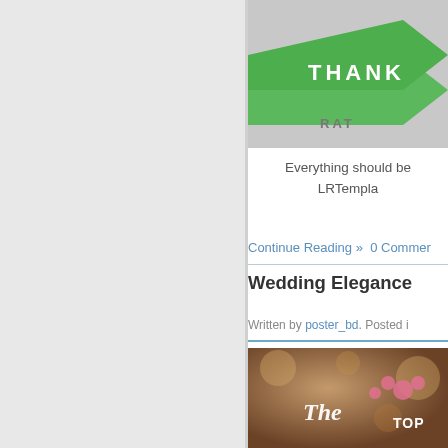[Figure (illustration): Green ribbon/banner graphic with text THANK and RAT visible, on a grey background]
Everything should be LRTempla
Continue Reading » 0 Commer
Wedding Elegance
Written by poster_bd. Posted i
[Figure (photo): Article thumbnail photo with warm brown/bokeh background showing 'The' text and 'TOP' text with pink paw print graphics]